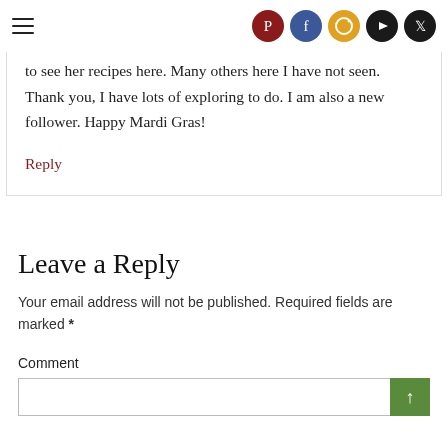Navigation bar with hamburger menu and social icons: Pinterest, Facebook, Instagram, YouTube, Twitter
to see her recipes here. Many others here I have not seen. Thank you, I have lots of exploring to do. I am also a new follower. Happy Mardi Gras!
Reply
Leave a Reply
Your email address will not be published. Required fields are marked *
Comment